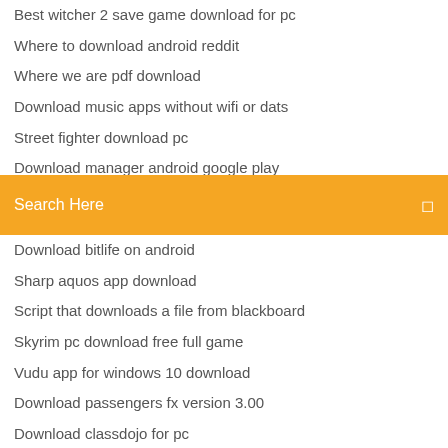Best witcher 2 save game download for pc
Where to download android reddit
Where we are pdf download
Download music apps without wifi or dats
Street fighter download pc
Download manager android google play
When can pc download black ops 4
[Figure (screenshot): Orange search bar with text 'Search Here' and a small icon on the right]
Download bitlife on android
Sharp aquos app download
Script that downloads a file from blackboard
Skyrim pc download free full game
Vudu app for windows 10 download
Download passengers fx version 3.00
Download classdojo for pc
How to sell downloadable files in whmcs
Vidmate para pc download
Jazz piano midi files download